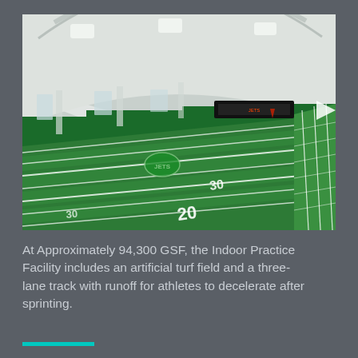[Figure (photo): Interior photograph of an indoor football practice facility showing a green artificial turf field with white yard line markings (numbers 20, 30 visible), a three-lane running track along the right side, white arched ceiling structure, and green-painted walls. A navigation arrow is visible on the right side of the image.]
At Approximately 94,300 GSF, the Indoor Practice Facility includes an artificial turf field and a three-lane track with runoff for athletes to decelerate after sprinting.